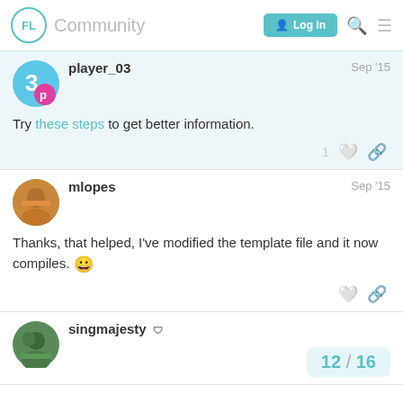FL Community  Log In
player_03  Sep '15
Try these steps to get better information.
mlopes  Sep '15
Thanks, that helped, I've modified the template file and it now compiles. 😀
singmajesty  12 / 16